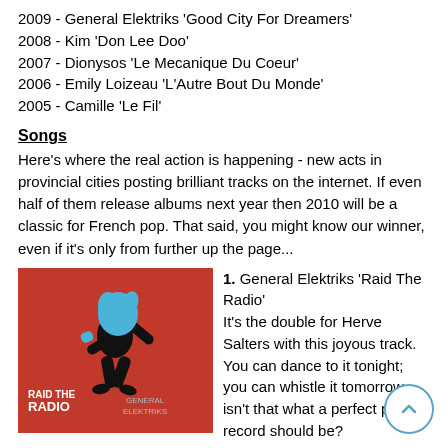2009 - General Elektriks 'Good City For Dreamers'
2008 - Kim 'Don Lee Doo'
2007 - Dionysos 'Le Mecanique Du Coeur'
2006 - Emily Loizeau 'L'Autre Bout Du Monde'
2005 - Camille 'Le Fil'
Songs
Here's where the real action is happening - new acts in provincial cities posting brilliant tracks on the internet. If even half of them release albums next year then 2010 will be a classic for French pop. That said, you might know our winner, even if it's only from further up the page...
[Figure (illustration): Album cover for General Elektriks 'Raid The Radio' - red background with black silhouette of dancing figure and blue head/hair detail, with album title text in white]
1. General Elektriks 'Raid The Radio'
It's the double for Herve Salters with this joyous track. You can dance to it tonight; you can whistle it tomorrow - isn't that what a perfect pop record should be?
2. Mataharie 'O Oak'
A girl with a high, haunting voice sings an enigmatic semi-electro song: another Kate Bush fan for sure. From a